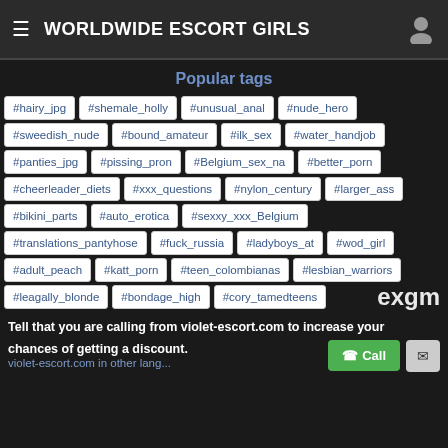WORLDWIDE ESCORT GIRLS
Popular tags
#hairy_jpg
#shemale_holly
#unusual_anal
#nude_hero
#sweedish_nude
#bound_amateur
#ilk_sex
#water_handjob
#panties_jpg
#pissing_pron
#Belgium_sex_na
#better_porn
#cheerleader_diets
#xxx_questions
#nylon_century
#larger_ass
#bikini_parts
#auto_erotica
#sexxy_xxx_Belgium
#translations_pantyhose
#fuck_russia
#ladyboys_at
#wod_girl
#adult_peach
#katt_porn
#teen_colombianas
#lesbian_warriors
#leagally_blonde
#bondage_high
#cory_tamedteens
Tell that you are calling from violet-escort.com to increase your chances of getting a discount.
violet-escort.com in other lang...